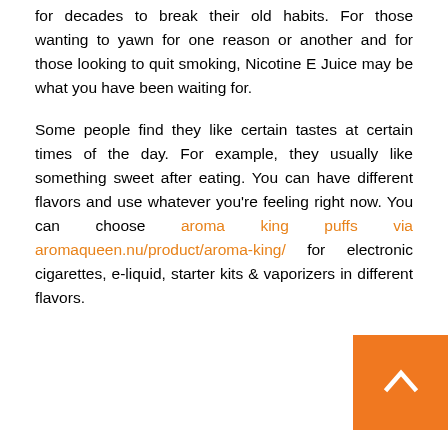for decades to break their old habits. For those wanting to yawn for one reason or another and for those looking to quit smoking, Nicotine E Juice may be what you have been waiting for.
Some people find they like certain tastes at certain times of the day. For example, they usually like something sweet after eating. You can have different flavors and use whatever you're feeling right now. You can choose aroma king puffs via aromaqueen.nu/product/aroma-king/ for electronic cigarettes, e-liquid, starter kits & vaporizers in different flavors.